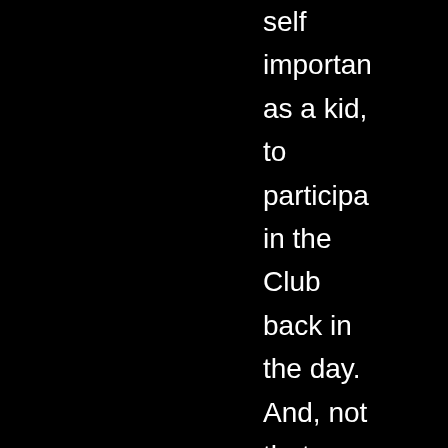self importan as a kid, to participa in the Club back in the day. And, not that anyone would've found our address out in the boondoc but perhaps it's better in retrospe